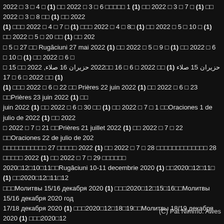2022 □ 3 □ 4 □ (1) □□ 2022 □ 3 □ 6 □□□□□ 1 (1) □□ 2022 □ 3 □ 7 □ (1) □□ 2022 □ 3 □ 8 □□ (1) □□ 2022 (1) □□□ 2022 □ 4 □ 7 □ (1) □□ 2022 □ 4 □ 8 □ (1) □□ 2022 □ 5 □ 10 □ (1) □□ 2022 □ 5 □ 20 □□ (1) □□ 202 □ 5 □ 27 □□ Rugăciuni 27 mai 2022 (1) □□ 2022 □ 5 □ 9 □ (1) □□ 2022 □ 6 □ 10 □ (1) □□ 2022 □ 6 □ 15 □□ 2022 حزیران 15 صلاء (1) □□ 2022 □ 6 □ 16 □□2022 حزیران 16 صلاء, (1) □□ 2022 □ 6 □ 17 (1) □□ 2022 □ 6 □ 22 □□ Prières 22 juin 2022 (1) □□ 2022 □ 6 □ 23 □□Prières 23 juin 2022 (1) □□ juin 2022 (1) □□ 2022 □ 6 □ 30 □□ (1) □□ 2022 □ 7 □ 1 □□Oraciones 1 de julio de 2022 (1) □□ 2022 □ 2022 □ 7 □ 21 □□Prières 21 juillet 2022 (1) □□ 2022 □ 7 □ 22 □□Oraciones 22 de julio de 202 □□□□□□□□□□□□ 27 □□□□□ 2022 (1) □□ 2022 □ 7 □ 28 □□□□□□□□□□□□□ 28 □□□□□ 2022 (1) □□ 2022 □ 7 □ 29 □□□□□□ 2020□12□10□11□□Rugăciuni 10-11 decembrie 2020 (1) □□2020□12□11□ (1) □□2020□12□11□12 □□□Молитвы 15/16 декабря 2020 (1) □□□2020□12□15□16□□Молитвы 15/16 декабря 2020 год 17/18 декабря 2020 (1) □□□2020□12□18□19□□Молитвы 18/19 декабря 2020 (1) □□□2020□12 2020□12□22□/ 23□Orações 22/23 de dezembro de 2020 (1) □□2020□12□23□□Orações 23 de д Gebete 6./7. Dezember 2020 (1) □□□2020□12□7□□Gebete 7. Dezember 2020 (1) □□□2020□12□7 2020□12□9□□Rugăciuni 9 decembrie 2020 (1) □□2020□12□9□□10□□Rugăciuni 9-10 decembrie 2 (1) □□2021□1□25□26□ (1) □□2021□1□26□27□ (1) □□2021□1□27□28□ (1) □□2021□1□28□29□ (1) □□2 8□9□ (1) □□2021□2□10□11□ (1) □□2021□2□11□12□ (1) □□2021□2□12□13□ (1) □□2021□2□15□16□ ( 2□23□24□ (1) □□2021□2□24□25□ (1) □□□2021□2□25□26□ (1) □□2021□2□26□27□ (1) □□□2021□2□3/4 2021□3□23□ (1) □□□2021□3□24□□Prières le 24 mars 2021 (1) □□□2021□3□26□ (1) □□2021□3□29□□□ 2021 □ 12 □ 31 □ (1) □□2021□1□5□ (1) □□□□□2021□1□6□7□ (1) □□ 10v11-30 (1) □□□□□ 12:13-21□ (1) □
(C) Pat Nimmo. Awes